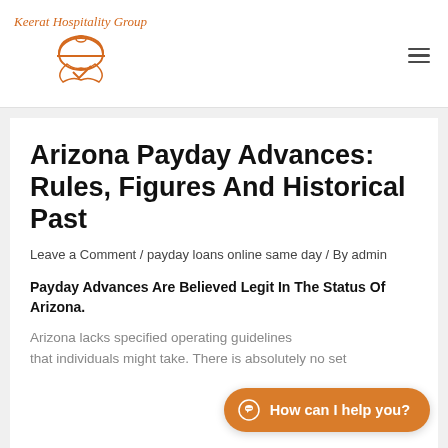Keerat Hospitality Group
Arizona Payday Advances: Rules, Figures And Historical Past
Leave a Comment / payday loans online same day / By admin
Payday Advances Are Believed Legit In The Status Of Arizona.
Arizona lacks specified op... that individuals might take. There is absolutely no set